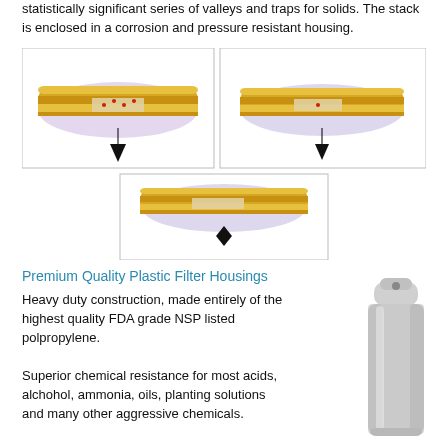statistically significant series of valleys and traps for solids. The stack is enclosed in a corrosion and pressure resistant housing.
[Figure (illustration): Three diagrams showing cross-sections of filter media stacking/compression at different stages, each with an arrow/diamond pointer indicating the filtration point.]
Premium Quality Plastic Filter Housings
Heavy duty construction, made entirely of the highest quality FDA grade NSP listed polpropylene.
Superior chemical resistance for most acids, alchohol, ammonia, oils, planting solutions and many other aggressive chemicals.
[Figure (photo): Photo of a cylindrical white/grey plastic filter housing with cap on top.]